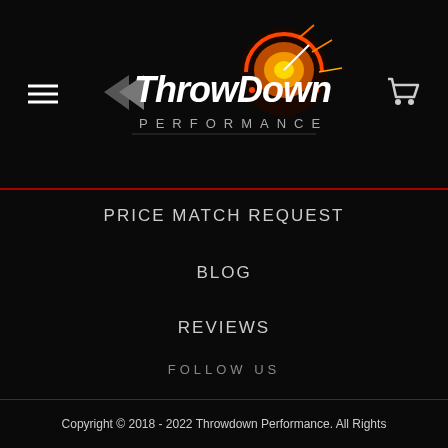[Figure (logo): ThrowDown Performance logo with speedometer graphic and text]
PRICE MATCH REQUEST
BLOG
REVIEWS
FOLLOW US
✉ SUBSCRIBE
Copyright © 2018 - 2022 Throwdown Performance. All Rights